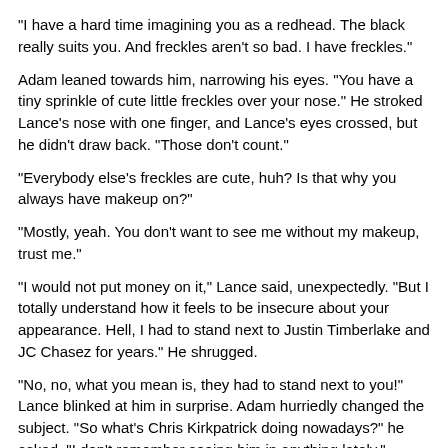"I have a hard time imagining you as a redhead. The black really suits you. And freckles aren't so bad. I have freckles."
Adam leaned towards him, narrowing his eyes. "You have a tiny sprinkle of cute little freckles over your nose." He stroked Lance's nose with one finger, and Lance's eyes crossed, but he didn't draw back. "Those don't count."
"Everybody else's freckles are cute, huh? Is that why you always have makeup on?"
"Mostly, yeah. You don't want to see me without my makeup, trust me."
"I would not put money on it," Lance said, unexpectedly. "But I totally understand how it feels to be insecure about your appearance. Hell, I had to stand next to Justin Timberlake and JC Chasez for years." He shrugged.
"No, no, what you mean is, they had to stand next to you!" Lance blinked at him in surprise. Adam hurriedly changed the subject. "So what's Chris Kirkpatrick doing nowadays?" he asked. "I don't remember seeing him in anything lately."
"He does experimental theater in tiny venues in Orlando, Florida," Lance said, "and he does theater workshops with children. He loves it. He's always been amazing with kids, and he doesn't give a shit about being famous."
"Cool. Uh, will I get to do scenes with him?"